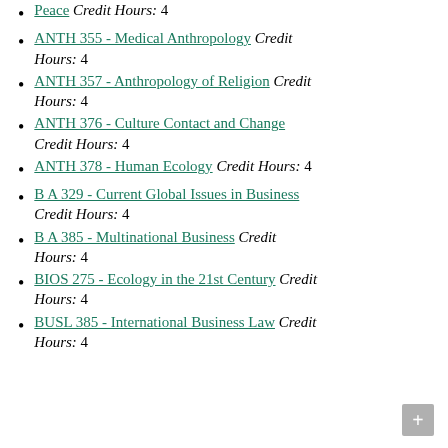Peace Credit Hours: 4
ANTH 355 - Medical Anthropology Credit Hours: 4
ANTH 357 - Anthropology of Religion Credit Hours: 4
ANTH 376 - Culture Contact and Change Credit Hours: 4
ANTH 378 - Human Ecology Credit Hours: 4
B A 329 - Current Global Issues in Business Credit Hours: 4
B A 385 - Multinational Business Credit Hours: 4
BIOS 275 - Ecology in the 21st Century Credit Hours: 4
BUSL 385 - International Business Law Credit Hours: 4